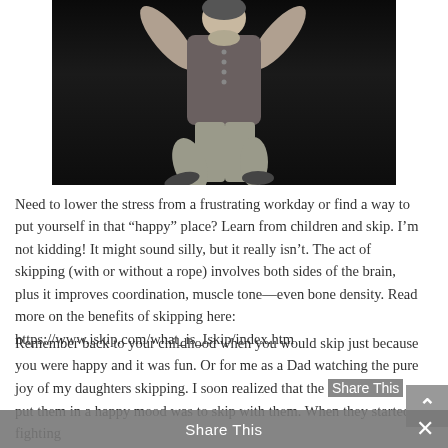[Figure (photo): Black and white photo of a person (appears to be jumping or dancing) wearing a vest and plaid shirt, photographed on a dark stage background]
Need to lower the stress from a frustrating workday or find a way to put yourself in that “happy” place? Learn from children and skip. I’m not kidding! It might sound silly, but it really isn’t. The act of skipping (with or without a rope) involves both sides of the brain, plus it improves coordination, muscle tone—even bone density. Read more on the benefits of skipping here: https://www.iskip.com/what_is_Iskip/index.htm
Remember back to your childhood when you would skip just because you were happy and it was fun. Or for me as a Dad watching the pure joy of my daughters skipping. I soon realized that the [Share This] put them in a happy mood was to skip with them. When they started fighting